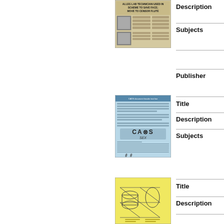[Figure (photo): Newspaper clipping with headline 'ALLEG LAB TECHNICIAN USED IN SCHEME TO SAVE FACE; MOVE TO CENSOR FLUTE' with photos of individuals]
Description
Subjects
Publisher
[Figure (photo): Light blue document/flyer featuring 'CAOS SEX' text with printed content]
Title
Description
Subjects
[Figure (photo): Yellow document with technical/schematic drawing]
Title
Description